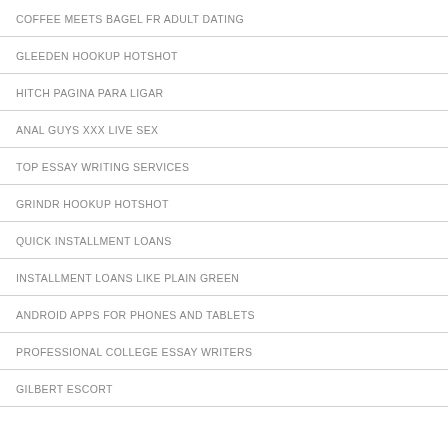COFFEE MEETS BAGEL FR ADULT DATING
GLEEDEN HOOKUP HOTSHOT
HITCH PAGINA PARA LIGAR
ANAL GUYS XXX LIVE SEX
TOP ESSAY WRITING SERVICES
GRINDR HOOKUP HOTSHOT
QUICK INSTALLMENT LOANS
INSTALLMENT LOANS LIKE PLAIN GREEN
ANDROID APPS FOR PHONES AND TABLETS
PROFESSIONAL COLLEGE ESSAY WRITERS
GILBERT ESCORT